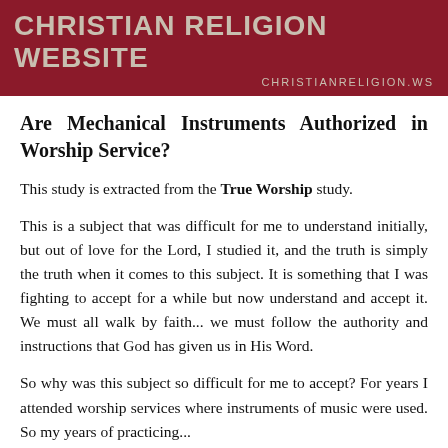CHRISTIAN RELIGION WEBSITE
CHRISTIANRELIGION.WS
Are Mechanical Instruments Authorized in Worship Service?
This study is extracted from the True Worship study.
This is a subject that was difficult for me to understand initially, but out of love for the Lord, I studied it, and the truth is simply the truth when it comes to this subject. It is something that I was fighting to accept for a while but now understand and accept it. We must all walk by faith... we must follow the authority and instructions that God has given us in His Word.
So why was this subject so difficult for me to accept? For years I attended worship services where instruments of music were used. So my years of practicing...